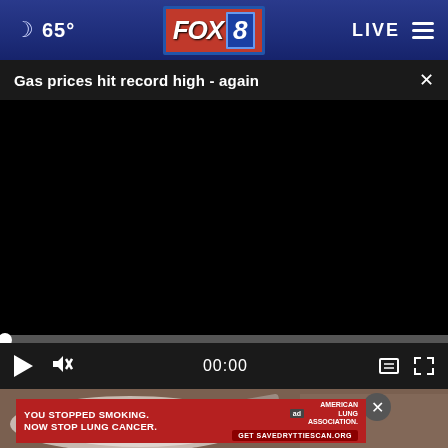🌙 65° | FOX 8 | LIVE
Gas prices hit record high - again
[Figure (screenshot): Black video player area, paused at 00:00, with play button, mute button, timestamp, captions icon, and fullscreen icon in dark controls bar. A progress bar sits at the bottom of the video.]
[Figure (photo): Partial view of an article image showing what appears to be a white bowl or container with a spoon on a wooden surface.]
YOU STOPPED SMOKING. NOW STOP LUNG CANCER. | ad | AMERICAN LUNG ASSOCIATION | Get SAVEDRYTTIESCAN.ORG